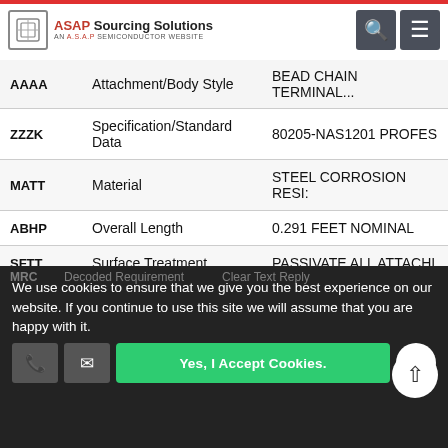ASAP Sourcing Solutions - AN A.S.A.P SEMICONDUCTOR WEBSITE
| Code | Description | Value |
| --- | --- | --- |
| AAAA | Attachment/Body Style | BEAD CHAIN TERMINAL... |
| ZZZK | Specification/Standard Data | 80205-NAS1201 PROFES... |
| MATT | Material | STEEL CORROSION RESI... |
| ABHP | Overall Length | 0.291 FEET NOMINAL |
| SFTT | Surface Treatment | PASSIVATE ALL ATTACHI... |
| ABMZ | Diameter | 0.188 INCHES NOMINAL |
| STYL | Style Designator | BEAD |
| AARN | Fabrication Method | CAST OR COLD DRAWN |
| ZZZX | Departure From Cited Designator | AS MODIFIED BY SURFA... |
| MRC | Decoded Requirement | Clear Text Reply |
We use cookies to ensure that we give you the best experience on our website. If you continue to use this site we will assume that you are happy with it.
Yes, I Accept Cookies.